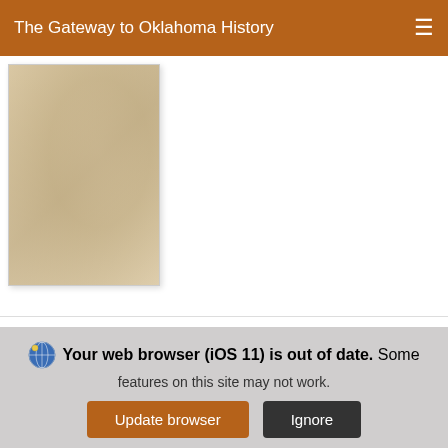The Gateway to Oklahoma History
[Figure (photo): Blurred thumbnail of an old document, partially visible at top of page]
[Figure (photo): Thumbnail of an old handwritten document with dark header area and cursive text]
Chickasaw Group Gathering History
Report of the Chickasaw Historical Society and scope of
Your web browser (iOS 11) is out of date. Some features on this site may not work.